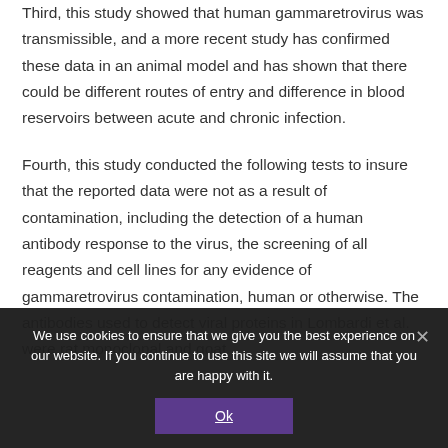Third, this study showed that human gammaretrovirus was transmissible, and a more recent study has confirmed these data in an animal model and has shown that there could be different routes of entry and difference in blood reservoirs between acute and chronic infection.
Fourth, this study conducted the following tests to insure that the reported data were not as a result of contamination, including the detection of a human antibody response to the virus, the screening of all reagents and cell lines for any evidence of gammaretrovirus contamination, human or otherwise. The antibodies used to detect viral proteins in Lombardi et al. were rat monoclonal and goat
We use cookies to ensure that we give you the best experience on our website. If you continue to use this site we will assume that you are happy with it.
Ok